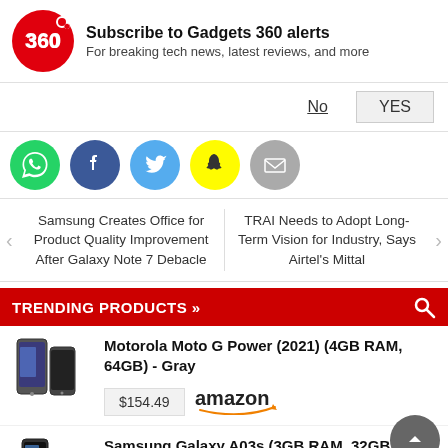[Figure (infographic): Gadgets 360 notification subscription banner with logo, title, subtitle, No and YES buttons]
[Figure (infographic): Social media share icons row: WhatsApp, Facebook, Twitter, Snapchat, Email]
Samsung Creates Office for Product Quality Improvement After Galaxy Note 7 Debacle
TRAI Needs to Adopt Long-Term Vision for Industry, Says Airtel's Mittal
TRENDING PRODUCTS »
Motorola Moto G Power (2021) (4GB RAM, 64GB) - Gray
$154.49  amazon
Samsung Galaxy A03s (3GB RAM, 32GB) - Black